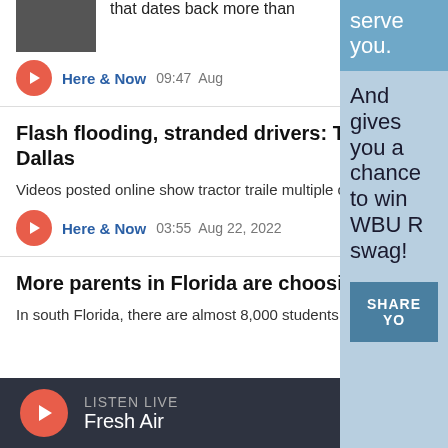[Figure (photo): Partial image of a dark photo at top left]
that dates back more than
Here & Now  09:47  Aug
Flash flooding, stranded drivers: The la Dallas
Videos posted online show tractor trailer multiple cars submerged in water along freeway.
Here & Now  03:55  Aug 22, 2022
More parents in Florida are choosing to homeschool their children
In south Florida, there are almost 8,000 students being homeschooled now than
serve you. And gives you a chance to win WBUR swag!
[Figure (screenshot): SHARE YO button in dark blue]
LISTEN LIVE
Fresh Air